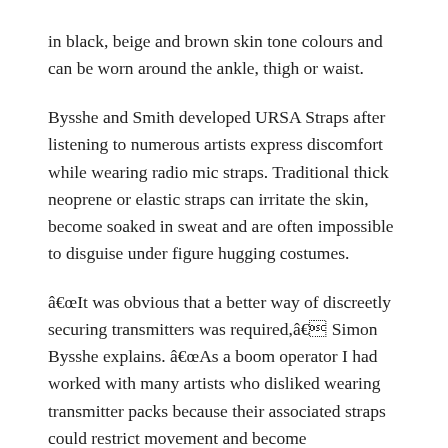in black, beige and brown skin tone colours and can be worn around the ankle, thigh or waist.
Bysshe and Smith developed URSA Straps after listening to numerous artists express discomfort while wearing radio mic straps. Traditional thick neoprene or elastic straps can irritate the skin, become soaked in sweat and are often impossible to disguise under figure hugging costumes.
âIt was obvious that a better way of discreetly securing transmitters was required,â Simon Bysshe explains. âAs a boom operator I had worked with many artists who disliked wearing transmitter packs because their associated straps could restrict movement and become uncomfortable. In some cases they had simply